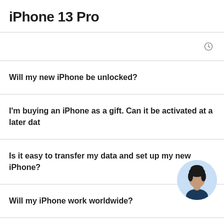iPhone 13 Pro
Will my new iPhone be unlocked?
I'm buying an iPhone as a gift. Can it be activated at a later date?
Is it easy to transfer my data and set up my new iPhone?
Will my iPhone work worldwide?
[Figure (photo): Circular avatar photo of a person with dark hair wearing a dark top, against a light blue background]
Which network providers offer 5G service?